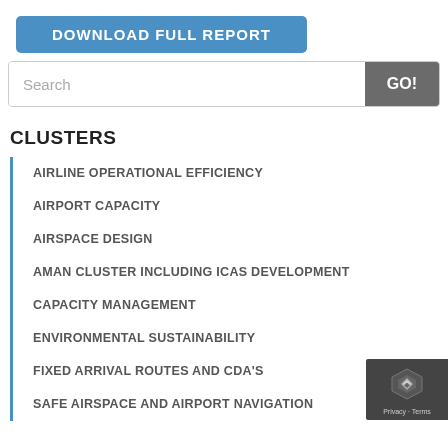[Figure (other): Blue 'DOWNLOAD FULL REPORT' button]
[Figure (other): Search bar with text input and GO! button]
CLUSTERS
AIRLINE OPERATIONAL EFFICIENCY
AIRPORT CAPACITY
AIRSPACE DESIGN
AMAN CLUSTER INCLUDING ICAS DEVELOPMENT
CAPACITY MANAGEMENT
ENVIRONMENTAL SUSTAINABILITY
FIXED ARRIVAL ROUTES AND CDA'S
SAFE AIRSPACE AND AIRPORT NAVIGATION